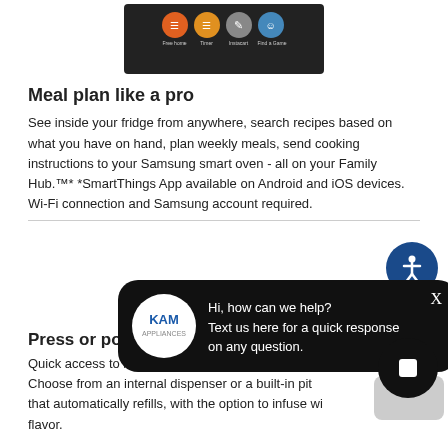[Figure (screenshot): Screenshot of a Samsung Family Hub app interface showing app icons on a dark background]
Meal plan like a pro
See inside your fridge from anywhere, search recipes based on what you have on hand, plan weekly meals, send cooking instructions to your Samsung smart oven - all on your Family Hub.™* *SmartThings App available on Android and iOS devices. Wi-Fi connection and Samsung account required.
[Figure (screenshot): Chat bubble overlay from KAM Appliances: Hi, how can we help? Text us here for a quick response on any question.]
Press or pour - water two ways
Quick access to refreshingly cool, filtered water tw… Choose from an internal dispenser or a built-in pit… that automatically refills, with the option to infuse wi… flavor.